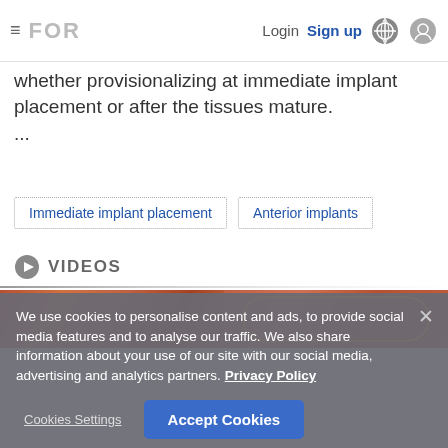FOR | Login | Sign up
whether provisionalizing at immediate implant placement or after the tissues mature.
...
Immediate implant placement
Anterior implants
VIDEOS
[Figure (photo): Two side-by-side clinical dental/surgical photos showing gum tissue]
We use cookies to personalise content and ads, to provide social media features and to analyse our traffic. We also share information about your use of our site with our social media, advertising and analytics partners. Privacy Policy
Cookies Settings | Accept Cookies